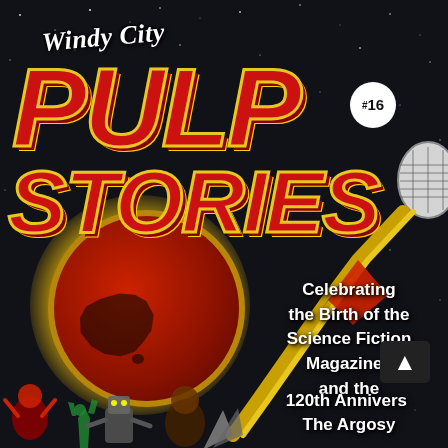[Figure (illustration): Magazine cover for Windy City Pulp Stories issue #16. Dark space background with stars. Large retro-futuristic rocket/spaceship with microphone-like head flying across. Yellow glowing circle with red planet showing Australia silhouette. Large stylized text 'Windy City PULP STORIES' in red with yellow outline. Issue #16 badge. Right side text celebrating birth of Science Fiction Magazines and 120th Anniversary of The Argosy. Bottom shows figures and robotic/alien characters.]
Windy City PULP STORIES #16
Celebrating the Birth of the Science Fiction Magazines and the 120th Anniversary of The Argosy